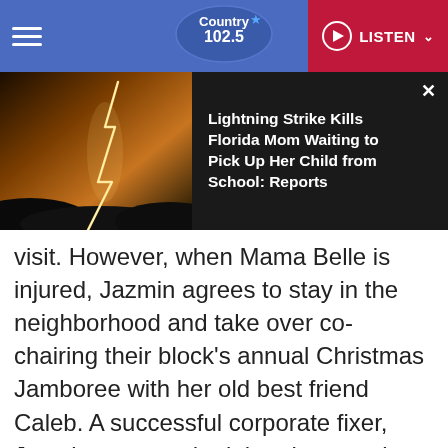Country 102.5 | LISTEN
[Figure (screenshot): Notification overlay showing a lightning strike image with headline: Lightning Strike Kills Florida Mom Waiting to Pick Up Her Child from School: Reports]
visit. However, when Mama Belle is injured, Jazmin agrees to stay in the neighborhood and take over co-chairing their block's annual Christmas Jamboree with her old best friend Caleb. A successful corporate fixer, Jazmin expects the job to be easy but quickly finds that she has a lot to learn about the community and her heart. Stars Olivia Washington, Will Adams, Tina Lifford."